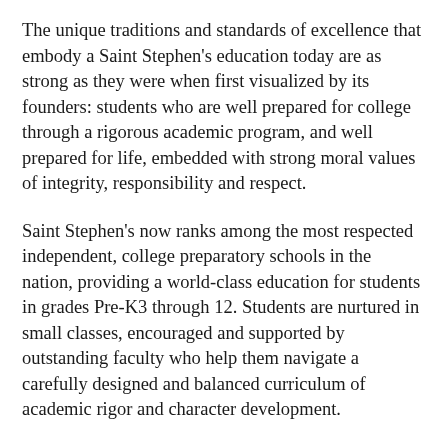The unique traditions and standards of excellence that embody a Saint Stephen's education today are as strong as they were when first visualized by its founders: students who are well prepared for college through a rigorous academic program, and well prepared for life, embedded with strong moral values of integrity, responsibility and respect.
Saint Stephen's now ranks among the most respected independent, college preparatory schools in the nation, providing a world-class education for students in grades Pre-K3 through 12. Students are nurtured in small classes, encouraged and supported by outstanding faculty who help them navigate a carefully designed and balanced curriculum of academic rigor and character development.
A wide variety of customized curricular and extracurricular experiences are offered that are the